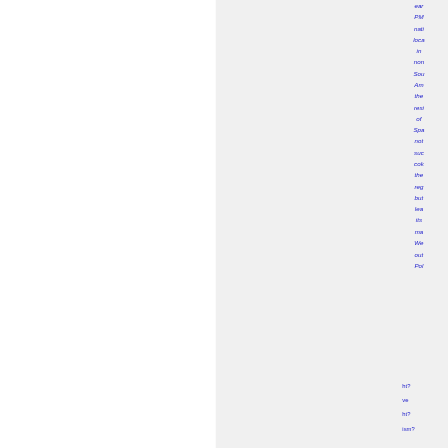ear
PM
nati
loca
in
non
Sou
Am
the
resi
of
Spa
not
suc
cok
the
reg
but
lea
its
ma
We
out
Pol

ht?
ve
ht?
ism?